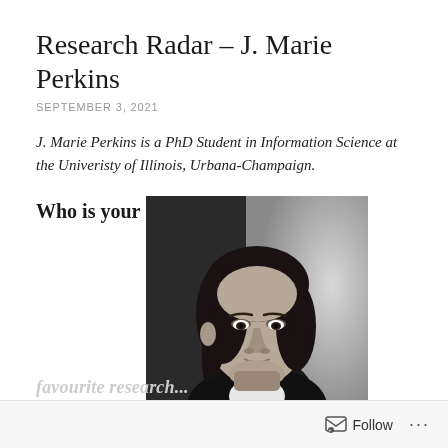Research Radar – J. Marie Perkins
SEPTEMBER 3, 2021
J. Marie Perkins is a PhD Student in Information Science at the Univeristy of Illinois, Urbana-Champaign.
Who is your
[Figure (photo): Black and white portrait photograph of J. Marie Perkins, a young woman with dark shoulder-length hair wearing a dark blazer, photographed against a blurred background.]
Follow ...